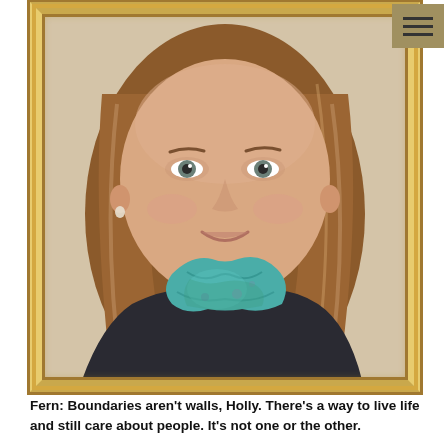[Figure (photo): A framed portrait photo of a middle-aged woman with long reddish-brown hair, smiling warmly. She is wearing a teal/green patterned scarf and a dark jacket. The photo is in a gold decorative frame. There is a hamburger menu icon (three horizontal lines) in a golden/tan square in the upper right corner.]
Fern: Boundaries aren't walls, Holly. There's a way to live life and still care about people. It's not one or the other.